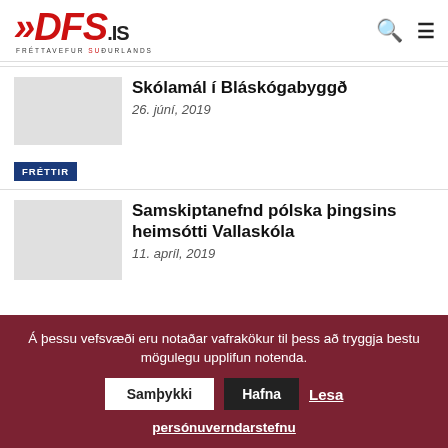[Figure (logo): DFS.is logo — red italic bold text with double-arrow chevrons, subtitle FRÉTTAVEFUR SUÐURLANDS]
Skólamál í Bláskógabyggð
26. júní, 2019
FRÉTTIR
Samskiptanefnd pólska þingsins heimsótti Vallaskóla
11. apríl, 2019
Á þessu vefsvæði eru notaðar vafrakökur til þess að tryggja bestu mögulegu upplifun notenda. Samþykki Hafna Lesa persónuverndarstefnu